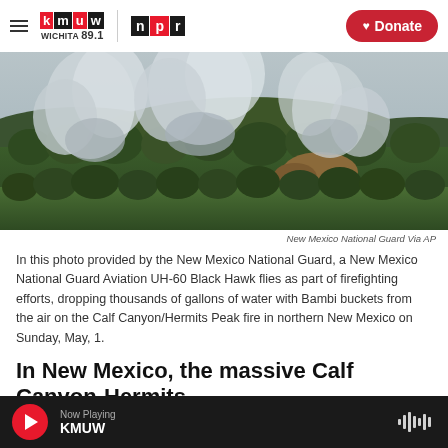KMUW Wichita 89.1 | NPR | Donate
[Figure (photo): Aerial view of a forest fire with large smoke plumes rising from forested mountains in northern New Mexico. Smoke billows from multiple points across the tree-covered ridgeline.]
New Mexico National Guard Via AP
In this photo provided by the New Mexico National Guard, a New Mexico National Guard Aviation UH-60 Black Hawk flies as part of firefighting efforts, dropping thousands of gallons of water with Bambi buckets from the air on the Calf Canyon/Hermits Peak fire in northern New Mexico on Sunday, May, 1.
In New Mexico, the massive Calf Canyon-Hermits
Now Playing KMUW